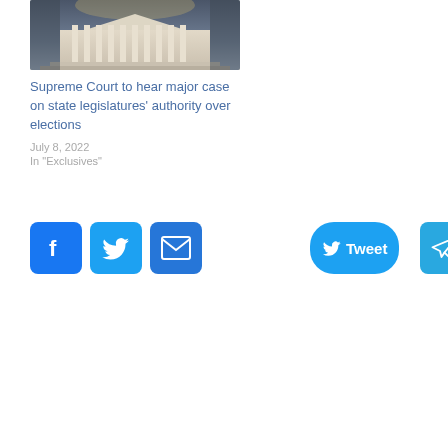[Figure (photo): Supreme Court building exterior at dusk/night with columns illuminated]
Supreme Court to hear major case on state legislatures' authority over elections
July 8, 2022
In "Exclusives"
[Figure (other): Social media share buttons: Facebook, Twitter, Email, Tweet, Telegram, Share+]